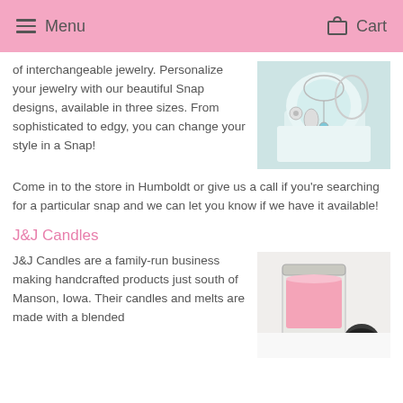Menu   Cart
of interchangeable jewelry. Personalize your jewelry with our beautiful Snap designs, available in three sizes. From sophisticated to edgy, you can change your style in a Snap!
[Figure (photo): Photo of silver jewelry including necklaces and charm bracelets on a white and teal display stand]
Come in to the store in Humboldt or give us a call if you're searching for a particular snap and we can let you know if we have it available!
J&J Candles
J&J Candles are a family-run business making handcrafted products just south of Manson, Iowa. Their candles and melts are made with a blended
[Figure (photo): Photo of a pink candle in a mason jar with a dark lid candle nearby]